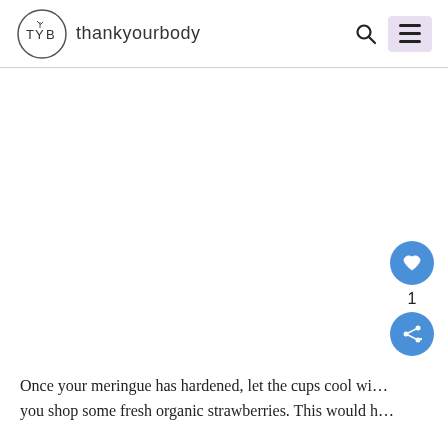[Figure (logo): thankyourbody logo with TYB circle monogram and site name]
[Figure (other): Large white/blank content area, likely an image placeholder]
[Figure (other): Blue circular heart button with count of 1 and blue share button]
Once your meringue has hardened, let the cups cool wi... you shop some fresh organic strawberries. This would h...